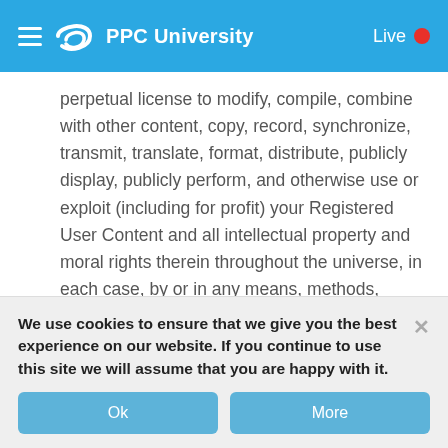PPC University  Live
perpetual license to modify, compile, combine with other content, copy, record, synchronize, transmit, translate, format, distribute, publicly display, publicly perform, and otherwise use or exploit (including for profit) your Registered User Content and all intellectual property and moral rights therein throughout the universe, in each case, by or in any means, methods, media, or technology now known or hereafter devised.
The right, but not the obligation, to use your Registered User Content, your Sign-In Name, name, likeness, and
We use cookies to ensure that we give you the best experience on our website. If you continue to use this site we will assume that you are happy with it.